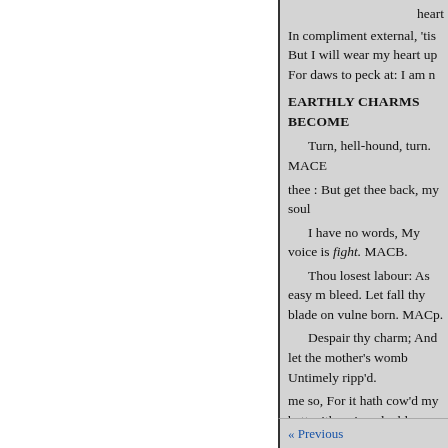heart
In compliment external, 'tis
But I will wear my heart up
For daws to peck at: I am n
EARTHLY CHARMS BECOME
Turn, hell-hound, turn. MACE
thee : But get thee back, my soul
I have no words, My voice is i fight. MACB.
Thou losest labour: As easy m bleed. Let fall thy blade on vulne born. MACp.
Despair thy charm; And let the mother's womb Untimely ripp'd.
me so, For it hath cow'd my bett with us in a double sense ;
« Previous